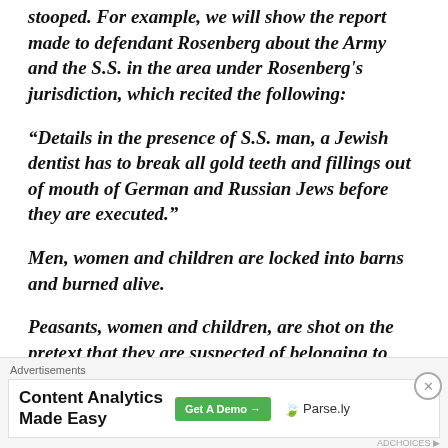stooped. For example, we will show the report made to defendant Rosenberg about the Army and the S.S. in the area under Rosenberg's jurisdiction, which recited the following:
“Details in the presence of S.S. man, a Jewish dentist has to break all gold teeth and fillings out of mouth of German and Russian Jews before they are executed.”
Men, women and children are locked into barns and burned alive.
Peasants, women and children, are shot on the pretext that they are suspected of belonging to bands. (R-135.)
[Figure (other): Advertisement banner: 'Content Analytics Made Easy' with a green 'Get A Demo' button and Parse.ly logo]